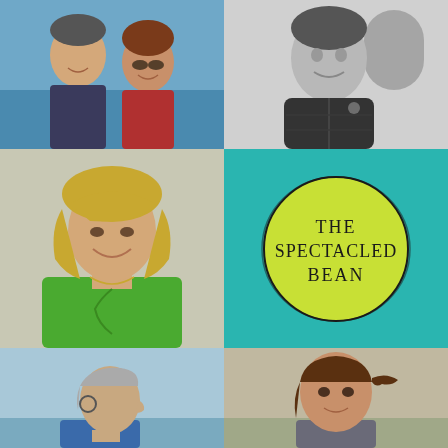[Figure (photo): Two people (a man and a woman) smiling outdoors near water, color photo]
[Figure (photo): Black and white photo of a smiling woman in a dark puffer jacket]
[Figure (photo): Woman with blonde hair wearing a green cardigan, smiling]
[Figure (logo): The Spectacled Bean logo: teal background with a yellow-green circle outline containing the text THE SPECTACLED BEAN]
[Figure (photo): Side profile of an older person with grey hair outdoors near water]
[Figure (photo): Woman with brown hair looking at camera, outdoors]